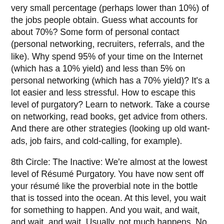very small percentage (perhaps lower than 10%) of the jobs people obtain. Guess what accounts for about 70%? Some form of personal contact (personal networking, recruiters, referrals, and the like). Why spend 95% of your time on the Internet (which has a 10% yield) and less than 5% on personal networking (which has a 70% yield)? It's a lot easier and less stressful. How to escape this level of purgatory? Learn to network. Take a course on networking, read books, get advice from others. And there are other strategies (looking up old want-ads, job fairs, and cold-calling, for example).
8th Circle: The Inactive: We're almost at the lowest level of Résumé Purgatory. You have now sent off your résumé like the proverbial note in the bottle that is tossed into the ocean. At this level, you wait for something to happen. And you wait, and wait, and wait, and wait. Usually, not much happens. No one calls you back. The Résumé Devil whispers in your ear that it must be a problem with your résumé. In reality, no company is in a hurry to hire. They can wait; it's you who is in a hurry. How to escape this level